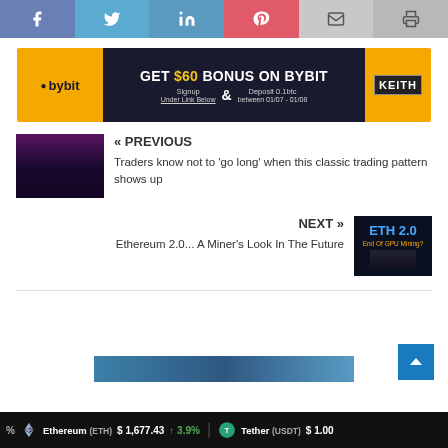[Figure (other): Social media sharing buttons: Facebook, Twitter, LinkedIn, Pinterest, Email, Print]
[Figure (other): Bybit advertisement banner: GET $60 BONUS ON BYBIT, Signup Under Link Below & Deposit 0.1btc between 01/07-01/08, Keith logo on right]
« PREVIOUS
Traders know not to 'go long' when this classic trading pattern shows up
NEXT »
Ethereum 2.0... A Miner's Look In The Future
[Figure (other): Partial bottom image strip with blue background]
Ethereum (ETH) $1,677.43 ↑3.9%   Tether (USDT) $1.00